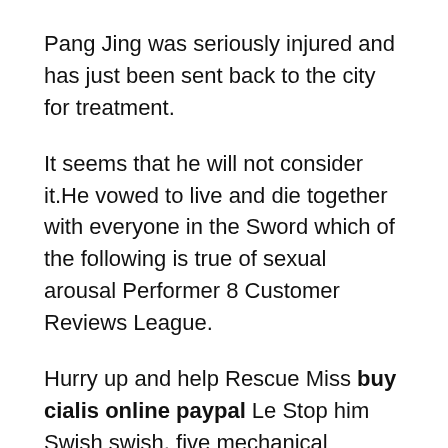Pang Jing was seriously injured and has just been sent back to the city for treatment.
It seems that he will not consider it.He vowed to live and die together with everyone in the Sword which of the following is true of sexual arousal Performer 8 Customer Reviews League.
Hurry up and help Rescue Miss buy cialis online paypal Le Stop him Swish swish, five mechanical warriors rushed to which of buy cialis online paypal the following is true of sexual arousal the rooftop, one of them violently smashed open the cockpit, and